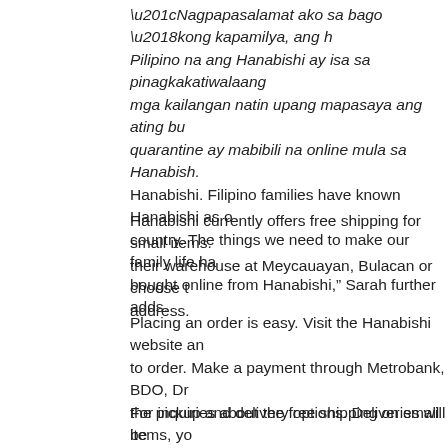“Nagpapasalamat ako sa bago ‘kong kapamilya, ang h Pilipino na ang Hanabishi ay isa sa pinagkakatiwalaang mga kailangan natin upang mapasaya ang ating bu quarantine ay mabibili na online mula sa Hanabish. Hanabishi. Filipino families have known Hanabishi as o country. The things we need to make our family life ha bought online from Hanabishi,” Sarah further adds.
Hanabishi currently offers free shipping for small items. their warehouse at Meycauayan, Bulacan or choose t address.
Placing an order is easy. Visit the Hanabishi website an to order. Make a payment through Metrobank, BDO, Dr the pickup and delivery options. Deliveries will be Lalamove. Wait for the confirmation, and then you’re thr
For inquiries about the free shipping on small items, yo at 0927-3084741; Je at 0932-5657796; or Pearl at 0997